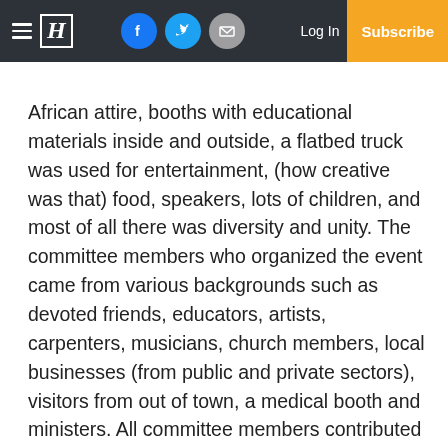H | Log In | Subscribe
African attire, booths with educational materials inside and outside, a flatbed truck was used for entertainment, (how creative was that) food, speakers, lots of children, and most of all there was diversity and unity. The committee members who organized the event came from various backgrounds such as devoted friends, educators, artists, carpenters, musicians, church members, local businesses (from public and private sectors), visitors from out of town, a medical booth and ministers. All committee members contributed their creative and professional skills. In addition, most of the original committee members can attest to when that glorious event was held.